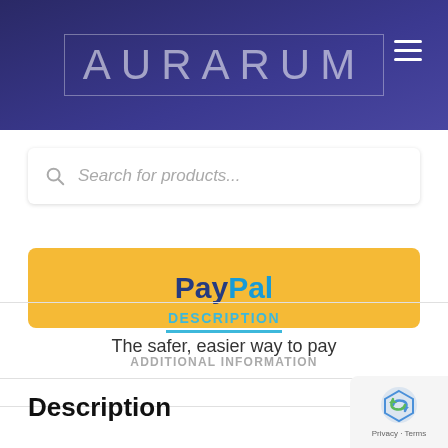AURARUM
[Figure (screenshot): Search bar with placeholder text 'Search for products...']
[Figure (infographic): PayPal yellow button with Pay and Pal in blue text]
The safer, easier way to pay
DESCRIPTION
ADDITIONAL INFORMATION
Description
[Figure (logo): Google reCAPTCHA privacy badge with Privacy and Terms text]